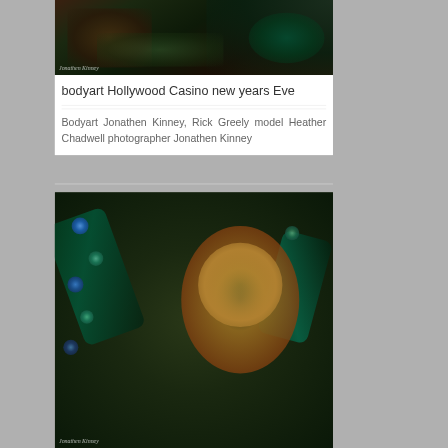[Figure (photo): Artistic bodyart photo of a model with peacock feather costume and body paint, dark background, watermark 'Jonathen Kinney' in bottom left]
bodyart Hollywood Casino new years Eve
Bodyart Jonathen Kinney, Rick Greely model Heather Chadwell photographer Jonathen Kinney
[Figure (photo): Artistic bodyart photo of a blonde woman lying among peacock feathers with teal eye makeup and body paint, watermark 'Jonathen Kinney' in bottom left]